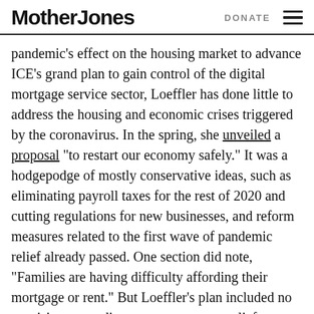Mother Jones | DONATE
pandemic’s effect on the housing market to advance ICE’s grand plan to gain control of the digital mortgage service sector, Loeffler has done little to address the housing and economic crises triggered by the coronavirus. In the spring, she unveiled a proposal “to restart our economy safely.” It was a hodgepodge of mostly conservative ideas, such as eliminating payroll taxes for the rest of 2020 and cutting regulations for new businesses, and reform measures related to the first wave of pandemic relief already passed. One section did note, “Families are having difficulty affording their mortgage or rent.” But Loeffler’s plan included no provisions regarding mortgage or rent relief or eviction moratoria.